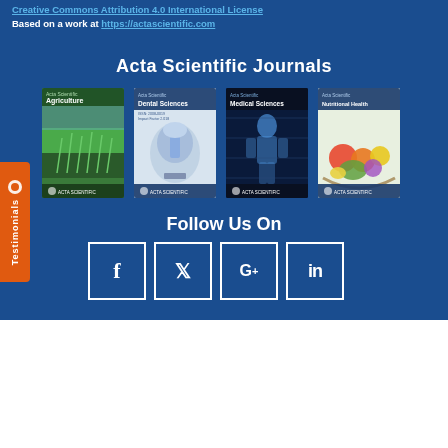Creative Commons Attribution 4.0 International License
Based on a work at https://actascientific.com
Acta Scientific Journals
[Figure (illustration): Four journal covers: Agriculture, Dental Sciences, Medical Sciences, Nutritional Health]
Testimonials
Follow Us On
[Figure (infographic): Social media icons: Facebook, Twitter, Google+, LinkedIn in white bordered squares on blue background]
© 2021 Acta Scientific, All rights reserved.
Contact Us    Advertise    Reprints    FAQ